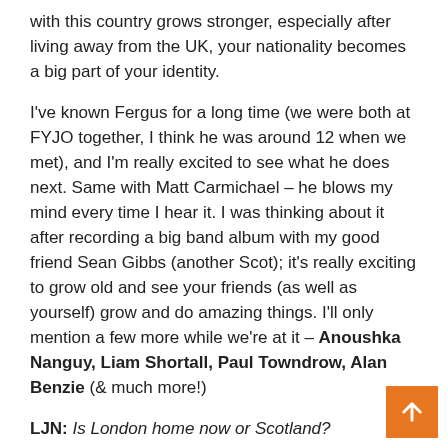with this country grows stronger, especially after living away from the UK, your nationality becomes a big part of your identity.
I've known Fergus for a long time (we were both at FYJO together, I think he was around 12 when we met), and I'm really excited to see what he does next. Same with Matt Carmichael – he blows my mind every time I hear it. I was thinking about it after recording a big band album with my good friend Sean Gibbs (another Scot); it's really exciting to grow old and see your friends (as well as yourself) grow and do amazing things. I'll only mention a few more while we're at it – Anoushka Nanguy, Liam Shortall, Paul Towndrow, Alan Benzie (& much more!)
LJN: Is London home now or Scotland?
Hong Kong: I live in London, Harringay to be precise, and I love this part of London. I am in Scotland so regularly that I also feel at home. I am very lucky to be in this position.